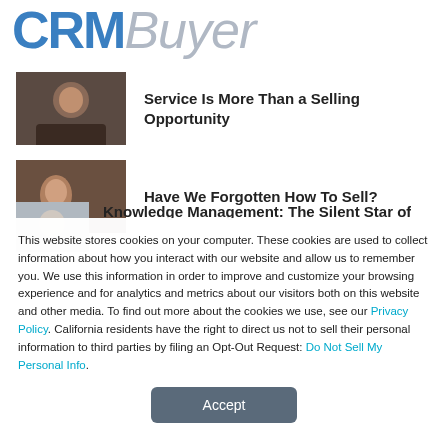[Figure (logo): CRMBuyer logo with CRM in bold blue and Buyer in italic gray]
[Figure (photo): Thumbnail of a man on a phone call]
Service Is More Than a Selling Opportunity
[Figure (photo): Thumbnail of a person looking at something]
Have We Forgotten How To Sell?
[Figure (photo): Partial thumbnail of a person]
Knowledge Management: The Silent Star of...
This website stores cookies on your computer. These cookies are used to collect information about how you interact with our website and allow us to remember you. We use this information in order to improve and customize your browsing experience and for analytics and metrics about our visitors both on this website and other media. To find out more about the cookies we use, see our Privacy Policy. California residents have the right to direct us not to sell their personal information to third parties by filing an Opt-Out Request: Do Not Sell My Personal Info.
Accept